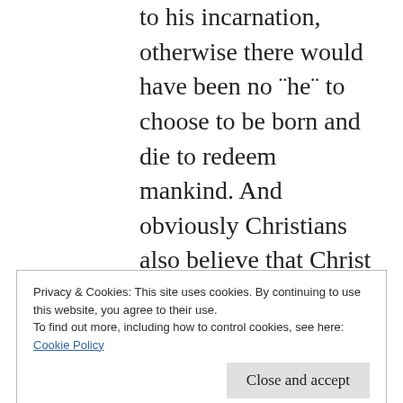to his incarnation, otherwise there would have been no "he" to choose to be born and die to redeem mankind. And obviously Christians also believe that Christ continued to exist following his death, resurrection and ascention, othewise why prey to him etc. So his life as a human was just a part of his eternal existence.
Privacy & Cookies: This site uses cookies. By continuing to use this website, you agree to their use.
To find out more, including how to control cookies, see here:
Cookie Policy
Close and accept